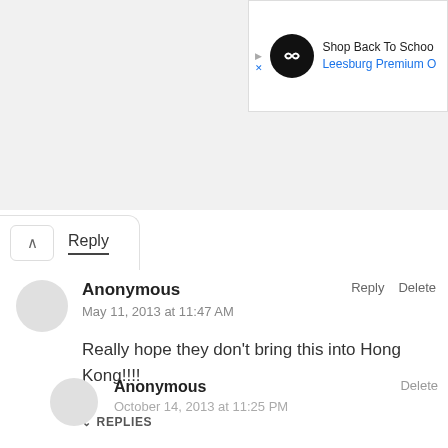[Figure (screenshot): Partial ad banner: Shop Back To School - Leesburg Premium Ou...]
Reply
Anonymous
May 11, 2013 at 11:47 AM
Really hope they don't bring this into Hong Kong!!!!
Reply   Delete
REPLIES
Anonymous
October 14, 2013 at 11:25 PM
Delete